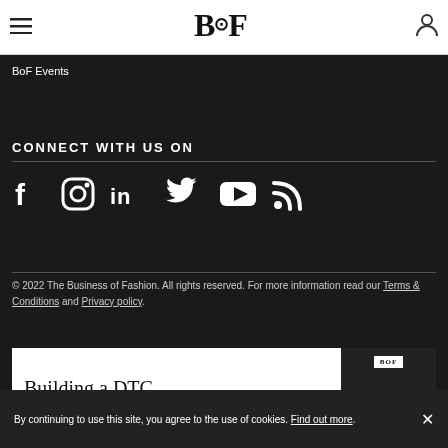BOF
BoF Events
CONNECT WITH US ON
[Figure (infographic): Row of social media icons: Facebook, Instagram, LinkedIn, Twitter, YouTube, RSS]
© 2022 The Business of Fashion. All rights reserved. For more information read our Terms & Conditions and Privacy policy.
[Figure (other): Advertisement banner showing 'Building a DTC' text with BOF logo badge and fashion image on the right]
By continuing to use this site, you agree to the use of cookies. Find out more.